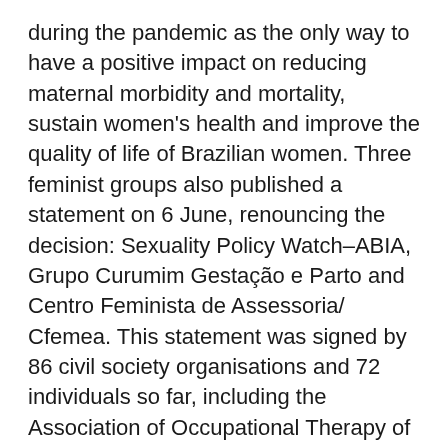during the pandemic as the only way to have a positive impact on reducing maternal morbidity and mortality, sustain women's health and improve the quality of life of Brazilian women. Three feminist groups also published a statement on 6 June, renouncing the decision: Sexuality Policy Watch–ABIA, Grupo Curumim Gestação e Parto and Centro Feminista de Assessoria/ Cfemea. This statement was signed by 86 civil society organisations and 72 individuals so far, including the Association of Occupational Therapy of the State of São Paulo, the National Federation of Psychologists, Brazilian Society of Child and Adolescent Gynaecology and the Collective of Women Defenders of Human Rights.
In a communication about the decision, the Ministry of Health published on its website a note stating that the technical note had no legitimacy, had not been